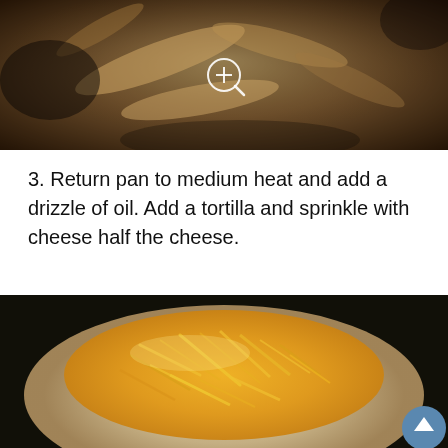[Figure (photo): Close-up photo of cooked chicken and mushrooms/onions in a pan, with a zoom/magnify icon overlay in the center]
3. Return pan to medium heat and add a drizzle of oil. Add a tortilla and sprinkle with cheese half the cheese.
[Figure (photo): Close-up photo of a flour tortilla topped with a generous pile of shredded cheddar cheese in a dark pan, with a scroll-to-top button in the bottom right corner]